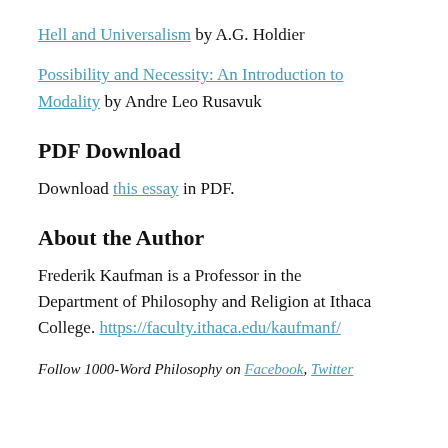Hell and Universalism by A.G. Holdier
Possibility and Necessity: An Introduction to Modality by Andre Leo Rusavuk
PDF Download
Download this essay in PDF.
About the Author
Frederik Kaufman is a Professor in the Department of Philosophy and Religion at Ithaca College. https://faculty.ithaca.edu/kaufmanf/
Follow 1000-Word Philosophy on Facebook, Twitter